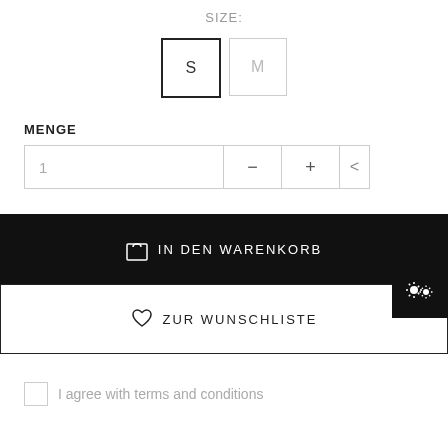SIZE:
[Figure (screenshot): Size selector with two buttons: S (selected, bold border) and M (unselected, light border)]
MENGE
[Figure (screenshot): Quantity input field showing 1, with minus (-) and plus (+) buttons, and a right arrow (<)]
[Figure (screenshot): Black button with shopping bag icon and text: IN DEN WARENKORB]
[Figure (screenshot): White button with heart icon and text: ZUR WUNSCHLISTE, with gear icon overlay in top-right corner]
I agree with terms and conditions